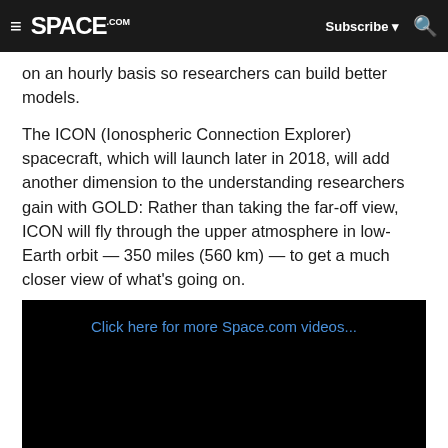SPACE.com — Subscribe — Search
on an hourly basis so researchers can build better models.
The ICON (Ionospheric Connection Explorer) spacecraft, which will launch later in 2018, will add another dimension to the understanding researchers gain with GOLD: Rather than taking the far-off view, ICON will fly through the upper atmosphere in low-Earth orbit — 350 miles (560 km) — to get a much closer view of what's going on.
[Figure (screenshot): Black video player box with blue link text reading 'Click here for more Space.com videos...']